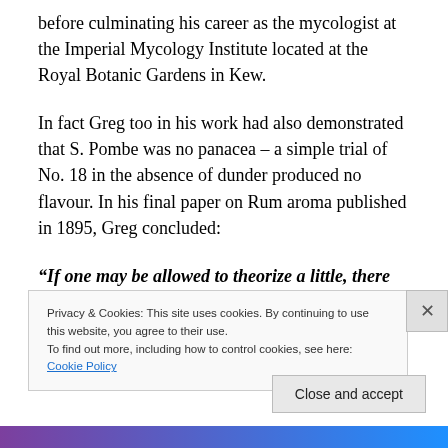before culminating his career as the mycologist at the Imperial Mycology Institute located at the Royal Botanic Gardens in Kew.
In fact Greg too in his work had also demonstrated that S. Pombe was no panacea – a simple trial of No. 18 in the absence of dunder produced no flavour. In his final paper on Rum aroma published in 1895, Greg concluded:
“If one may be allowed to theorize a little, there seems sufficient grounds for concluding, from the results which I have up to now attained, that though the
Privacy & Cookies: This site uses cookies. By continuing to use this website, you agree to their use.
To find out more, including how to control cookies, see here: Cookie Policy